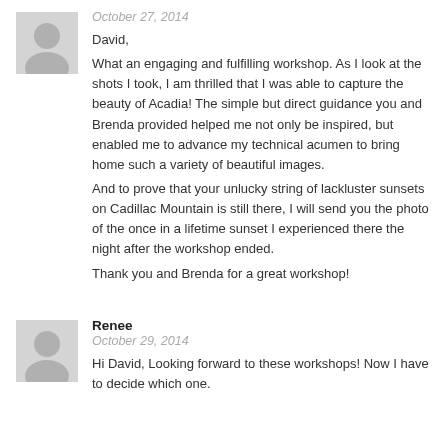[Figure (photo): Grey placeholder avatar silhouette icon for first commenter]
October 27, 2014
David,
What an engaging and fulfilling workshop. As I look at the shots I took, I am thrilled that I was able to capture the beauty of Acadia! The simple but direct guidance you and Brenda provided helped me not only be inspired, but enabled me to advance my technical acumen to bring home such a variety of beautiful images.
And to prove that your unlucky string of lackluster sunsets on Cadillac Mountain is still there, I will send you the photo of the once in a lifetime sunset I experienced there the night after the workshop ended.
Thank you and Brenda for a great workshop!
[Figure (photo): Grey placeholder avatar silhouette icon for Renee]
Renee
October 29, 2014
Hi David, Looking forward to these workshops! Now I have to decide which one.